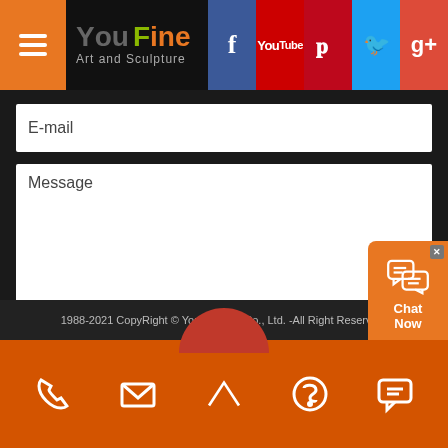[Figure (screenshot): YouFine Art and Sculpture website header with logo, hamburger menu, and social media icons (Facebook, YouTube, Pinterest, Twitter, Google+)]
E-mail
Message
SEND
CLEAR
1988-2021 CopyRight © You Fine Art Co., Ltd. -All Right Reserverd
[Figure (screenshot): Bottom navigation bar with phone, email, up-arrow, Skype, and chat icons on orange background. Chat Now widget visible in bottom right.]